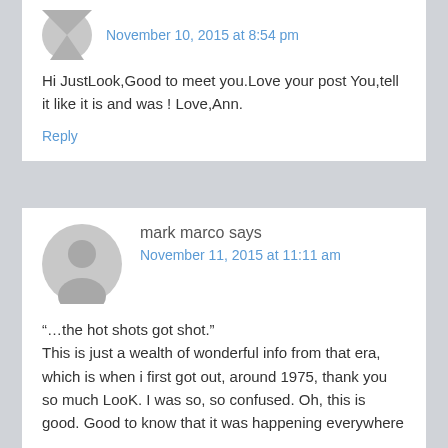November 10, 2015 at 8:54 pm
Hi JustLook,Good to meet you.Love your post You,tell it like it is and was ! Love,Ann.
Reply
mark marco says
November 11, 2015 at 11:11 am
“…the hot shots got shot.” This is just a wealth of wonderful info from that era, which is when i first got out, around 1975, thank you so much LooK. I was so, so confused. Oh, this is good. Good to know that it was happening everywhere